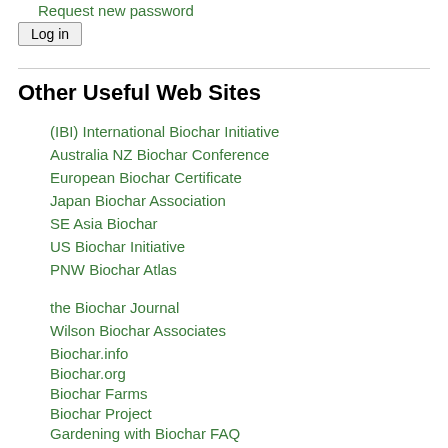Request new password
Log in
Other Useful Web Sites
(IBI) International Biochar Initiative
Australia NZ Biochar Conference
European Biochar Certificate
Japan Biochar Association
SE Asia Biochar
US Biochar Initiative
PNW Biochar Atlas
the Biochar Journal
Wilson Biochar Associates
Biochar.info
Biochar.org
Biochar Farms
Biochar Project
Gardening with Biochar FAQ
GEO TP Rooftop
Open Source Ecology Biochar Pages
What is Biochar?